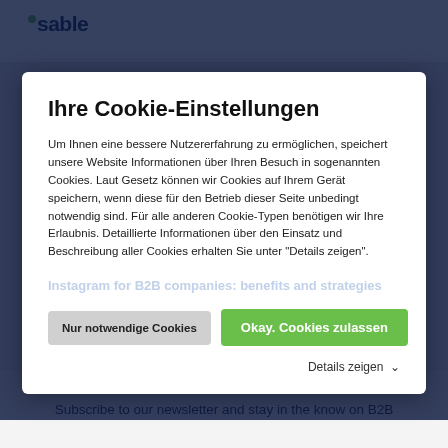[Figure (screenshot): Website navigation bar with isable logo (green dot above 'i') and icons top right]
Ihre Cookie-Einstellungen
Um Ihnen eine bessere Nutzererfahrung zu ermöglichen, speichert unsere Website Informationen über Ihren Besuch in sogenannten Cookies. Laut Gesetz können wir Cookies auf Ihrem Gerät speichern, wenn diese für den Betrieb dieser Seite unbedingt notwendig sind. Für alle anderen Cookie-Typen benötigen wir Ihre Erlaubnis. Detaillierte Informationen über den Einsatz und Beschreibung aller Cookies erhalten Sie unter "Details zeigen".
Nur notwendige Cookies
Okay. Cookies zulassen
Details zeigen
Subscribe to our newsletter and stay in the know on B2B